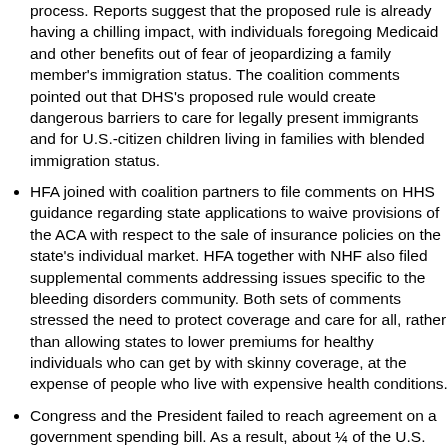process. Reports suggest that the proposed rule is already having a chilling impact, with individuals foregoing Medicaid and other benefits out of fear of jeopardizing a family member's immigration status. The coalition comments pointed out that DHS's proposed rule would create dangerous barriers to care for legally present immigrants and for U.S.-citizen children living in families with blended immigration status.
HFA joined with coalition partners to file comments on HHS guidance regarding state applications to waive provisions of the ACA with respect to the sale of insurance policies on the state's individual market. HFA together with NHF also filed supplemental comments addressing issues specific to the bleeding disorders community. Both sets of comments stressed the need to protect coverage and care for all, rather than allowing states to lower premiums for healthy individuals who can get by with skinny coverage, at the expense of people who live with expensive health conditions.
Congress and the President failed to reach agreement on a government spending bill. As a result, about ¼ of the U.S. government (agencies that didn't already have funding in place) will halt work until a deal is reached. Most of the government functions that most directly touch people's